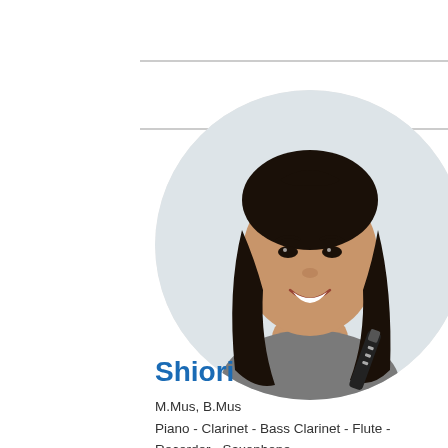[Figure (photo): Circular portrait photo of Shiori, a woman with long dark hair, smiling, holding a clarinet. She is wearing a grey top. White background inside the circle.]
Shiori
M.Mus, B.Mus
Piano - Clarinet - Bass Clarinet - Flute - Recorder - Saxophone